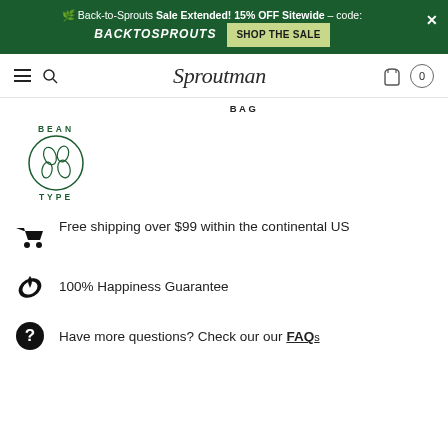🌱 Back-to-Sprouts Sale Extended! 15% OFF Sitewide – code: BACKTOSPROUTS  [SHOP THE SALE]
[Figure (logo): Sproutman script logo in top navigation bar]
BAG
[Figure (logo): BEAN TYPE circular logo with illustrated beans inside a circle]
Free shipping over $99 within the continental US
100% Happiness Guarantee
Have more questions? Check our our FAQs